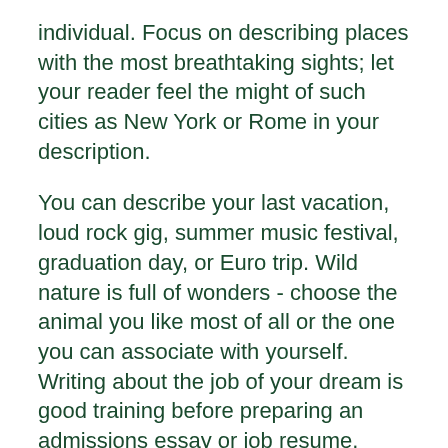individual. Focus on describing places with the most breathtaking sights; let your reader feel the might of such cities as New York or Rome in your description.
You can describe your last vacation, loud rock gig, summer music festival, graduation day, or Euro trip. Wild nature is full of wonders - choose the animal you like most of all or the one you can associate with yourself. Writing about the job of your dream is good training before preparing an admissions essay or job resume.
We can explain just anything in details. The goal is to make it sound both artistically and officially. Keep in mind you can count on help with writing a descriptive essay from academic experts who care about your performance.
Step 2: Create a statement
As his daddy...